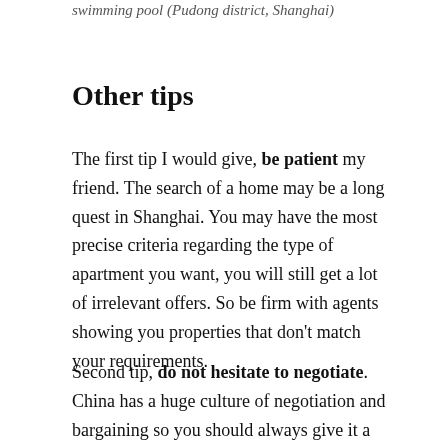swimming pool (Pudong district, Shanghai)
Other tips
The first tip I would give, be patient my friend. The search of a home may be a long quest in Shanghai. You may have the most precise criteria regarding the type of apartment you want, you will still get a lot of irrelevant offers. So be firm with agents showing you properties that don't match your requirements.
Second tip, do not hesitate to negotiate. China has a huge culture of negotiation and bargaining so you should always give it a try. It